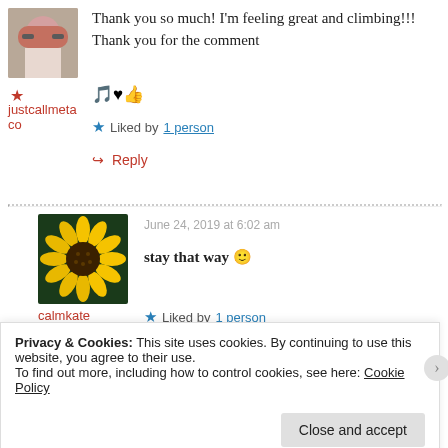[Figure (photo): Avatar of user justcallmetaco - person with red hair and glasses]
justcallmetaco
Thank you so much! I'm feeling great and climbing!!! Thank you for the comment 🎵♥👍
Liked by 1 person
↪ Reply
June 24, 2019 at 6:02 am
[Figure (photo): Sunflower photo - avatar of user calmkate]
stay that way 🙂
calmkate
Liked by 1 person
Privacy & Cookies: This site uses cookies. By continuing to use this website, you agree to their use. To find out more, including how to control cookies, see here: Cookie Policy
Close and accept